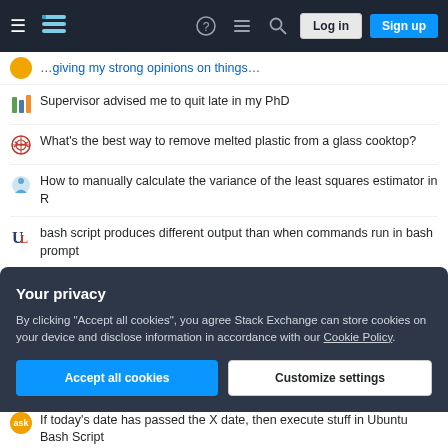Stack Exchange navigation bar with hamburger menu, logo, help, chat, search icons, Log in and Sign up buttons
Supervisor advised me to quit late in my PhD
What's the best way to remove melted plastic from a glass cooktop?
How to manually calculate the variance of the least squares estimator in R
bash script produces different output than when commands run in bash prompt
Numerals 13-19 are based on 10. Why do 11 and 12 follow a different pattern?
What electrical work box should I use to replace this steel one?
Short story: aliens change world at housewife's accidental request
Your privacy
By clicking "Accept all cookies", you agree Stack Exchange can store cookies on your device and disclose information in accordance with our Cookie Policy.
Accept all cookies | Customize settings
If today's date has passed the X date, then execute stuff in Ubuntu Bash Script ...